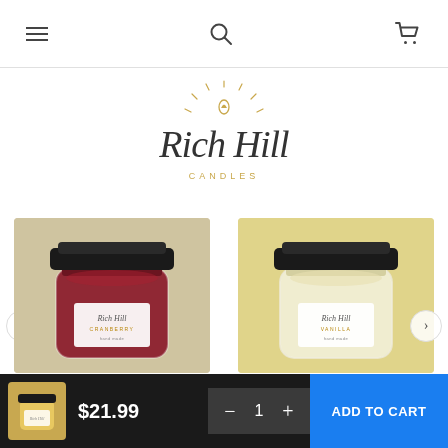Navigation bar with menu, search, and cart icons
[Figure (logo): Rich Hill Candles script logo with sun/flame icon above the text in gold]
[Figure (photo): Cranberry scented jar candle with black metal lid and white Rich Hill label, red wax inside, on light background]
Cranberry Scented Jars
$18.99
[Figure (photo): Vanilla scented jar candle with black metal lid and white Rich Hill label, cream/yellow wax inside, on warm yellow background]
Vanilla Scented Jars
$18.99
$21.99  − 1 +  ADD TO CART